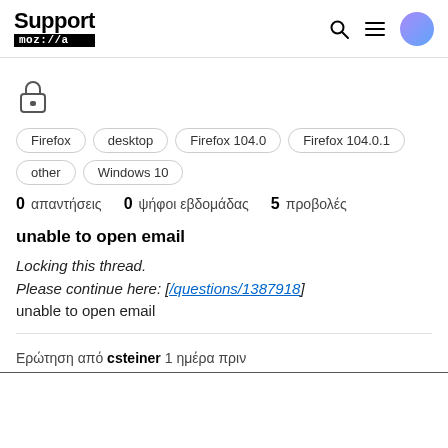Support mozilla // a
[Figure (logo): Lock icon indicating thread is locked]
Firefox
desktop
Firefox 104.0
Firefox 104.0.1
other
Windows 10
0 απαντήσεις  0 ψήφοι εβδομάδας  5 προβολές
unable to open email
Locking this thread.
Please continue here: [/questions/1387918]
unable to open email
Ερώτηση από csteiner 1 ημέρα πριν